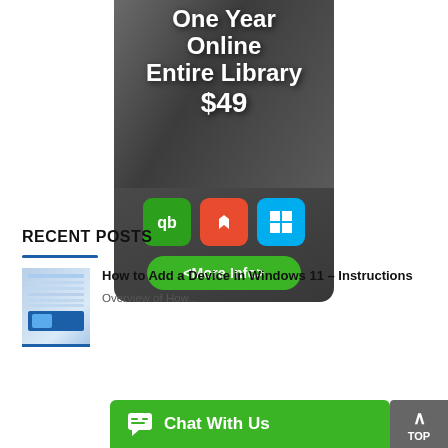[Figure (infographic): Advertisement banner showing 'One Year Online Entire Library $49' with QuickBooks, Microsoft Office, and Windows logos, and a green 'More Info' button, displayed over a dark photo of people studying.]
RECENT POSTS
[Figure (screenshot): Thumbnail screenshot of a Windows 11 device settings screen]
How to Add a Device in Windows 11 – Instructions
Overview of How...
[Figure (infographic): Green 'Chat With Us' widget bar with chat bubble icon]